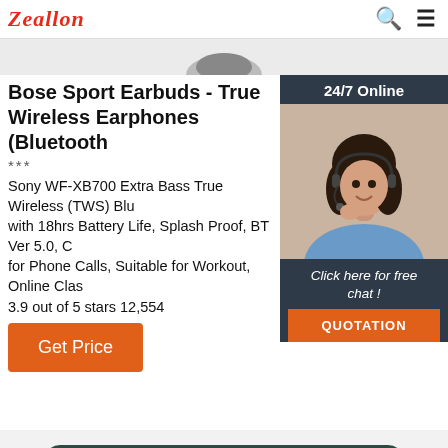Zeallon
[Figure (photo): Partial view of a dark wireless earbud/headphone product image at top]
Bose Sport Earbuds - True Wireless Earphones (Bluetooth
***
Sony WF-XB700 Extra Bass True Wireless (TWS) Blu with 18hrs Battery Life, Splash Proof, BT Ver 5.0, C for Phone Calls, Suitable for Workout, Online Clas
3.9 out of 5 stars 12,554
[Figure (photo): Customer service chat widget showing a woman wearing a headset with text: 24/7 Online, Click here for free chat!, and QUOTATION button]
Get Price
[Figure (photo): Bottom portion of a portable wireless speaker in dark teal/green color with red speaker grilles and control buttons]